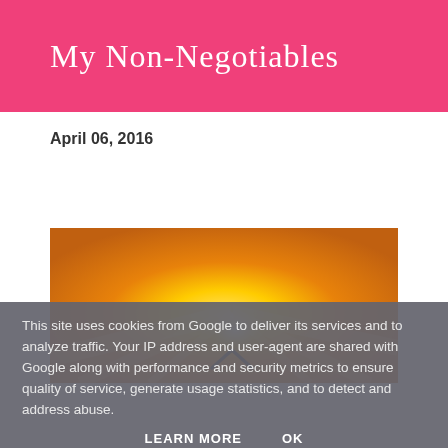My Non-Negotiables
April 06, 2016
[Figure (photo): A golden sunset or sunrise photo with warm orange and yellow tones, a bright light source in the center, and a dark chevron/caret symbol visible at the bottom center]
This site uses cookies from Google to deliver its services and to analyze traffic. Your IP address and user-agent are shared with Google along with performance and security metrics to ensure quality of service, generate usage statistics, and to detect and address abuse.
LEARN MORE    OK